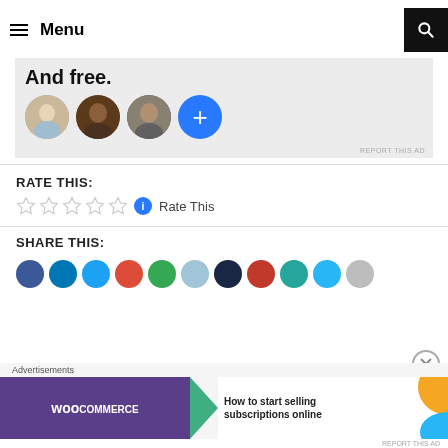Menu
[Figure (screenshot): Advertisement banner with text 'And free.' and four circular avatar photos, the fourth being a blue circle with a plus sign]
RATE THIS:
Rate This
SHARE THIS:
[Figure (screenshot): Row of social share icon circles: blue, dark blue, light blue, red, green, light blue, dark navy, red, teal, light blue, grey]
[Figure (screenshot): WooCommerce advertisement banner: 'How to start selling subscriptions online']